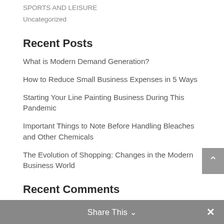SPORTS AND LEISURE
Uncategorized
Recent Posts
What is Modern Demand Generation?
How to Reduce Small Business Expenses in 5 Ways
Starting Your Line Painting Business During This Pandemic
Important Things to Note Before Handling Bleaches and Other Chemicals
The Evolution of Shopping: Changes in the Modern Business World
Recent Comments
Maryhaisp on Your Business In Lockdown: Using The Time Wisely
Share This ∨   ×